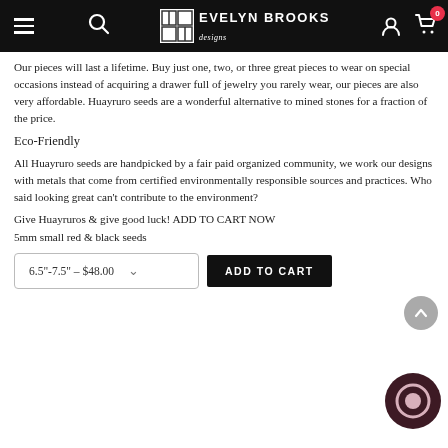Evelyn Brooks Designs — Navigation bar with logo, search, account, cart (0)
Our pieces will last a lifetime. Buy just one, two, or three great pieces to wear on special occasions instead of acquiring a drawer full of jewelry you rarely wear, our pieces are also very affordable. Huayruro seeds are a wonderful alternative to mined stones for a fraction of the price.
Eco-Friendly
All Huayruro seeds are handpicked by a fair paid organized community, we work our designs with metals that come from certified environmentally responsible sources and practices. Who said looking great can't contribute to the environment?
Give Huayruros & give good luck! ADD TO CART NOW
5mm small red & black seeds